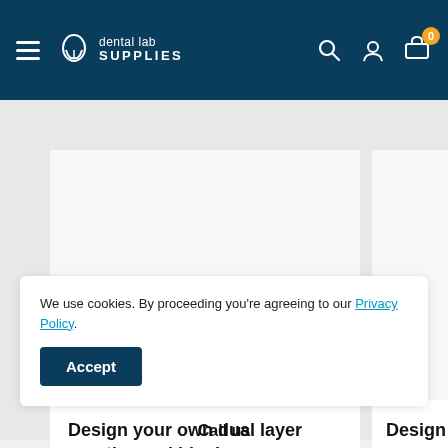dental lab SUPPLIES — navigation header with hamburger menu, logo, search, account, and cart icons
Design your own dual layer mouthguard blank
£2.90
Design your own mo... in two colours or pa...
£3.50
We use cookies. By proceeding you're agreeing to our Privacy Policy.
Accept
Call us